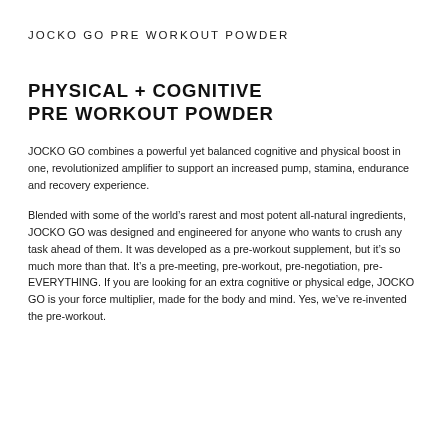JOCKO GO PRE WORKOUT POWDER
PHYSICAL + COGNITIVE PRE WORKOUT POWDER
JOCKO GO combines a powerful yet balanced cognitive and physical boost in one, revolutionized amplifier to support an increased pump, stamina, endurance and recovery experience.
Blended with some of the world’s rarest and most potent all-natural ingredients, JOCKO GO was designed and engineered for anyone who wants to crush any task ahead of them. It was developed as a pre-workout supplement, but it’s so much more than that. It’s a pre-meeting, pre-workout, pre-negotiation, pre-EVERYTHING. If you are looking for an extra cognitive or physical edge, JOCKO GO is your force multiplier, made for the body and mind. Yes, we’ve re-invented the pre-workout.